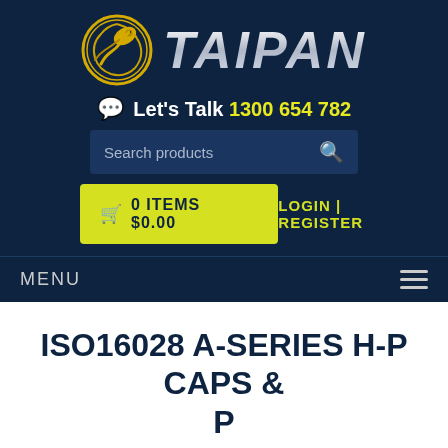[Figure (logo): Taipan logo with golden snake in circular design and metallic silver TAIPAN text]
💬 Let's Talk 1300 654 782
Search products 🔍
🛒 0 ITEMS  $0.00
LOGIN | REGISTER
MENU ≡
ISO16028 A-SERIES H-P CAPS & P